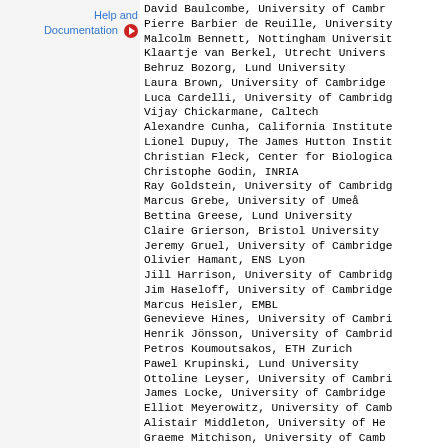Help and Documentation
David Baulcombe, University of Cambridge
Pierre Barbier de Reuille, University
Malcolm Bennett, Nottingham University
Klaartje van Berkel, Utrecht University
Behruz Bozorg, Lund University
Laura Brown, University of Cambridge
Luca Cardelli, University of Cambridge
Vijay Chickarmane, Caltech
Alexandre Cunha, California Institute
Lionel Dupuy, The James Hutton Institute
Christian Fleck, Center for Biological
Christophe Godin, INRIA
Ray Goldstein, University of Cambridge
Marcus Grebe, University of Umeå
Bettina Greese, Lund University
Claire Grierson, Bristol University
Jeremy Gruel, University of Cambridge
Olivier Hamant, ENS Lyon
Jill Harrison, University of Cambridge
Jim Haseloff, University of Cambridge
Marcus Heisler, EMBL
Genevieve Hines, University of Cambridge
Henrik Jönsson, University of Cambridge
Petros Koumoutsakos, ETH Zurich
Pawel Krupinski, Lund University
Ottoline Leyser, University of Cambridge
James Locke, University of Cambridge
Elliot Meyerowitz, University of Cambridge
Alistair Middleton, University of He
Graeme Mitchison, University of Cambridge